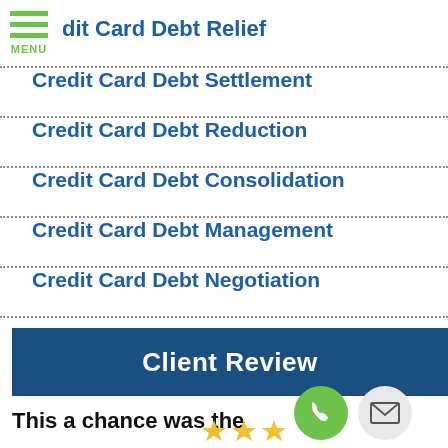Credit Management Specialists - Credit Card Debt Relief
Credit Card Debt Settlement
Credit Card Debt Reduction
Credit Card Debt Consolidation
Credit Card Debt Management
Credit Card Debt Negotiation
Client Review
This a chance was the